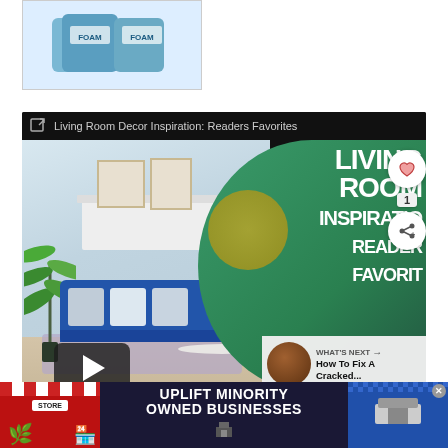[Figure (photo): Product thumbnail image showing blue foam containers with text 'FOAM' on packaging, on white background]
[Figure (screenshot): Embedded video player showing 'Living Room Decor Inspiration: Readers Favorites' with a living room scene featuring blue sofa, palm plant, coffee table on left side and green circular graphic with bold white text 'LIVING ROOM INSPIRATION READERS FAVORITES' on right side. Play button visible in center. Sidebar shows heart/share buttons and 'WHAT'S NEXT: How To Fix A Cracked...' panel.]
[Figure (screenshot): Advertisement banner at bottom: 'UPLIFT MINORITY OWNED BUSINESSES' with store imagery on left and right, close button visible]